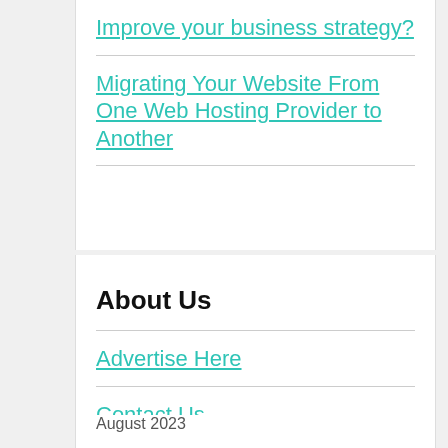Improve your business strategy?
Migrating Your Website From One Web Hosting Provider to Another
About Us
Sitemap
Disclosure Policy
Advertise Here
Contact Us
August 2023